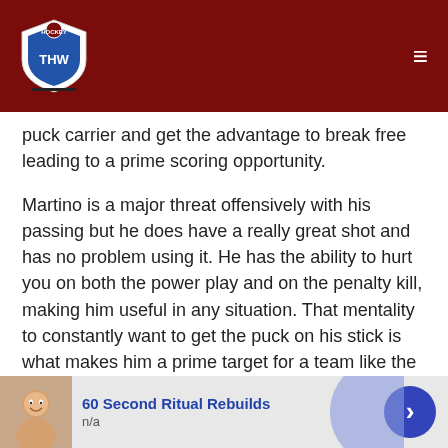THW logo and navigation
puck carrier and get the advantage to break free leading to a prime scoring opportunity.
Martino is a major threat offensively with his passing but he does have a really great shot and has no problem using it. He has the ability to hurt you on both the power play and on the penalty kill, making him useful in any situation. That mentality to constantly want to get the puck on his stick is what makes him a prime target for a team like the Maple Leafs.
While this draft may not be deep as last year, there is still a lot of promising prospects that could make an impact for the Maple Leafs. Despite not owning a first, they're going to add a
[Figure (screenshot): Advertisement banner: '60 Second Ritual Rebuilds', n/a, with a face image and blue circle arrow button]